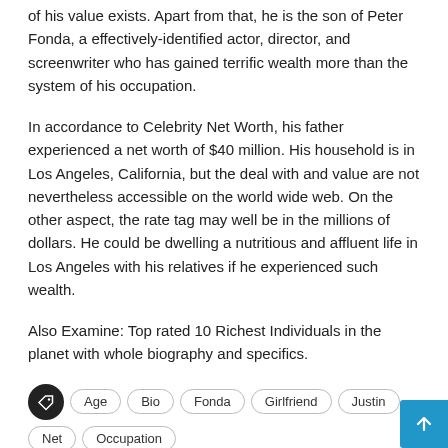of his value exists. Apart from that, he is the son of Peter Fonda, a effectively-identified actor, director, and screenwriter who has gained terrific wealth more than the system of his occupation.
In accordance to Celebrity Net Worth, his father experienced a net worth of $40 million. His household is in Los Angeles, California, but the deal with and value are not nevertheless accessible on the world wide web. On the other aspect, the rate tag may well be in the millions of dollars. He could be dwelling a nutritious and affluent life in Los Angeles with his relatives if he experienced such wealth.
Also Examine: Top rated 10 Richest Individuals in the planet with whole biography and specifics.
Age
Bio
Fonda
Girlfriend
Justin
Net
Occupation
Worth